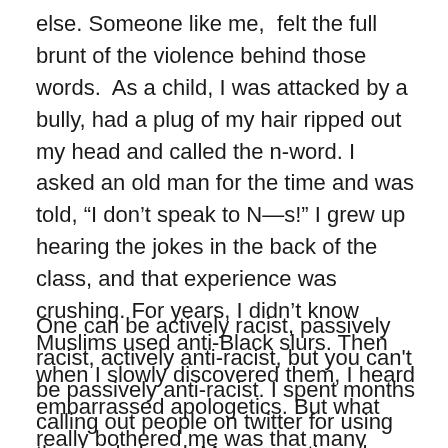else. Someone like me, felt the full brunt of the violence behind those words. As a child, I was attacked by a bully, had a plug of my hair ripped out my head and called the n-word. I asked an old man for the time and was told, “I don’t speak to N—s!” I grew up hearing the jokes in the back of the class, and that experience was crushing. For years, I didn’t know Muslims used anti-Black slurs. Then when I slowly discovered them, I heard embarrassed apologetics. But what really bothered me was that many Muslim schools were not well equipped to deal with racism on their campus.
One can be actively racist, passively racist, actively anti-racist, but you can’t be passively anti-racist. I spent months calling out people on twitter for using the word abeed. Many questioned our methods. And this work, itself angered me, frustrated me, and made me wonder was it